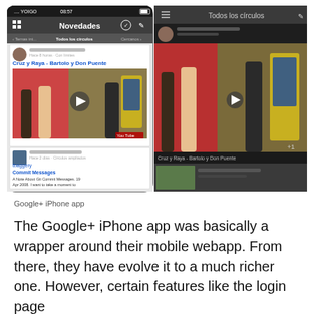[Figure (screenshot): Two-panel screenshot of the Google+ iPhone app. Left panel shows 'Novedades' feed with a YOIGO status bar, navigation bar, tabs including 'Todos los círculos', a post with a YouTube video thumbnail for 'Cruz y Raya - Bartolo y Don Puente', and a second post about 'tbaggery Commit Messages'. Right panel shows 'Todos los círculos' view in dark theme with the same video content and a second thumbnail below.]
Google+ iPhone app
The Google+ iPhone app was basically a wrapper around their mobile webapp. From there, they have evolve it to a much richer one. However, certain features like the login page